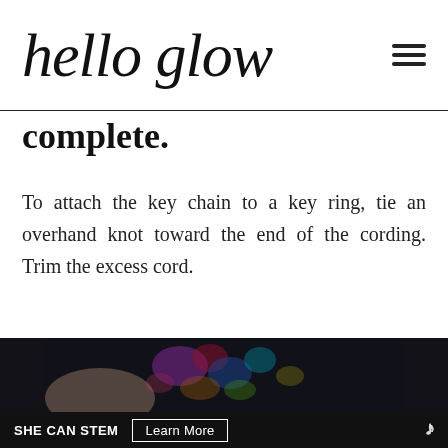hello glow
complete.
To attach the key chain to a key ring, tie an overhand knot toward the end of the cording. Trim the excess cord.
[Figure (photo): Close-up photo of colorful feather charms on a dark background, used as a decorative keychain.]
SHE CAN STEM  Learn More  w°